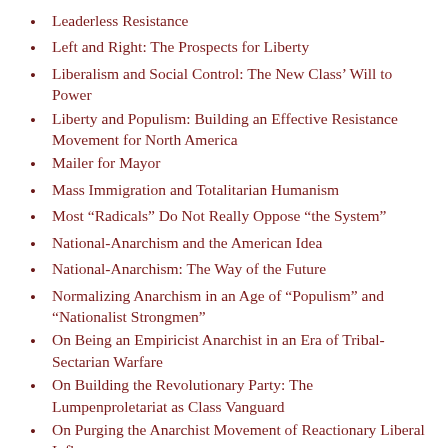Leaderless Resistance
Left and Right: The Prospects for Liberty
Liberalism and Social Control: The New Class’ Will to Power
Liberty and Populism: Building an Effective Resistance Movement for North America
Mailer for Mayor
Mass Immigration and Totalitarian Humanism
Most “Radicals” Do Not Really Oppose “the System”
National-Anarchism and the American Idea
National-Anarchism: The Way of the Future
Normalizing Anarchism in an Age of “Populism” and “Nationalist Strongmen”
On Being an Empiricist Anarchist in an Era of Tribal-Sectarian Warfare
On Building the Revolutionary Party: The Lumpenproletariat as Class Vanguard
On Purging the Anarchist Movement of Reactionary Liberal Influences
Operational Anarchism?
Organizing the Urban Lumpenproletariat
Our Struggle is Neither Moral nor Intellectual but